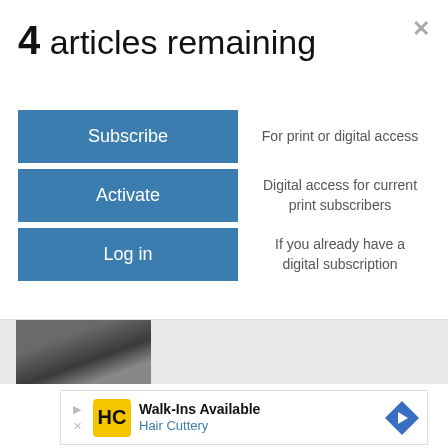4 articles remaining
Subscribe — For print or digital access
Activate — Digital access for current print subscribers
Log in — If you already have a digital subscription
[Figure (photo): Background image of an animal (appears to be a dog or similar) on grass, partially visible beneath the modal overlay]
[Figure (infographic): Hair Cuttery advertisement banner: Walk-Ins Available with HC logo and directional arrow icon]